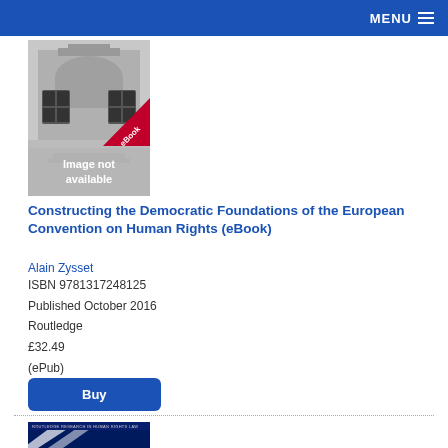MENU
[Figure (illustration): Book cover placeholder: grey building illustration with 'Image not available' text and red 'eBook' banner]
Constructing the Democratic Foundations of the European Convention on Human Rights (eBook)
Alain Zysset
ISBN 9781317248125
Published October 2016
Routledge
£32.49
(ePub)
Buy
[Figure (illustration): Book cover with dark blue background and white diagonal streaks, top text reads 'ROUTLEDGE RESEARCH IN HUMAN RIGHTS LAW']